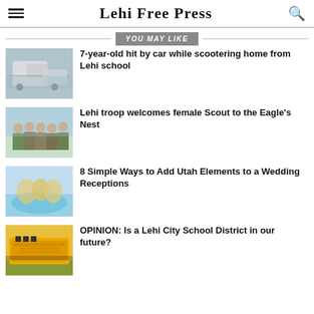Lehi Free Press
YOU MAY LIKE
7-year-old hit by car while scootering home from Lehi school
Lehi troop welcomes female Scout to the Eagle's Nest
8 Simple Ways to Add Utah Elements to a Wedding Receptions
OPINION: Is a Lehi City School District in our future?